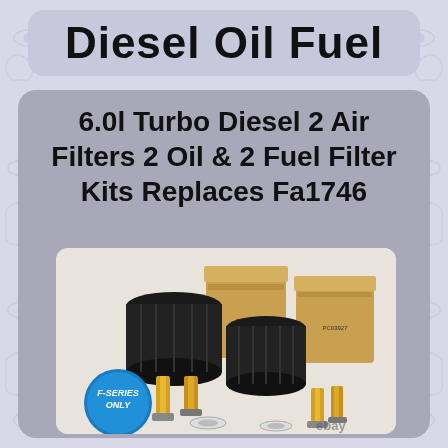Diesel Oil Fuel
6.0l Turbo Diesel 2 Air Filters 2 Oil & 2 Fuel Filter Kits Replaces Fa1746
[Figure (photo): Product photo showing two black diesel filter housings with yellow filter elements, cardboard boxes (Delco branded, part PC03927), and various fuel/oil filter components arranged on white background. A blue circular badge reads 'F-SERIES ONLY'. eBay watermark visible at bottom right.]